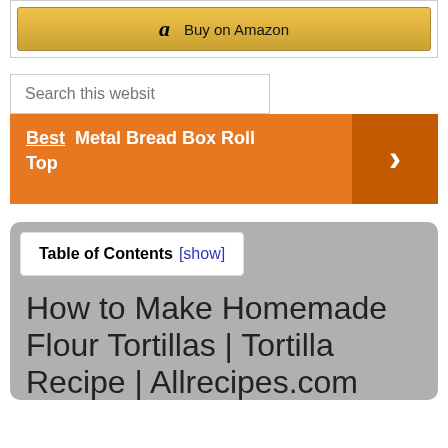[Figure (screenshot): Amazon Buy on Amazon button with gold gradient background and Amazon logo]
[Figure (screenshot): Search this website input field]
Best Metal Bread Box Roll Top
Table of Contents [show]
How to Make Homemade Flour Tortillas | Tortilla Recipe | Allrecipes.com